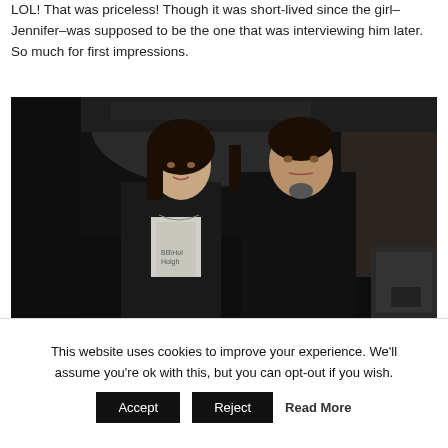LOL! That was priceless! Though it was short-lived since the girl–Jennifer–was supposed to be the one that was interviewing him later. So much for first impressions.
[Figure (photo): A still from a film or TV show showing two Asian actors — a woman with dark hair wearing a black jacket over a white top, and a man in a black shirt with a goatee, standing in a dimly lit industrial or backstage setting.]
This website uses cookies to improve your experience. We'll assume you're ok with this, but you can opt-out if you wish.